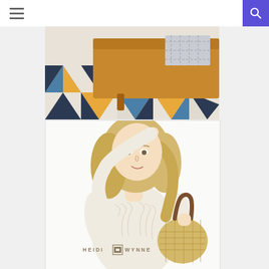Navigation bar with hamburger menu and search button
[Figure (photo): Close-up photo of a tan/caramel leather sofa foot and leg resting on a geometric patterned rug with triangles in navy, teal, orange, and cream. A grey knit blanket is visible on the sofa.]
[Figure (photo): Fashion photo of a blonde woman wearing a cream cable-knit sweater and holding a woven/raffia handbag with leather strap. She is looking down and touching her hair. The Heidi Wynne logo appears in the lower left of the photo.]
[Figure (logo): Heidi Wynne logo: text 'HEIDI WYNNE' in spaced capitals with a geometric square diamond icon between the words, in gold/tan color.]